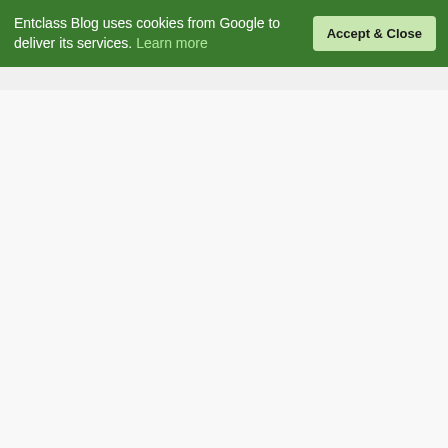[Figure (screenshot): Green cookie consent banner at top of webpage reading: Entclass Blog uses cookies from Google to deliver its services. Learn more — with an Accept & Close button]
Warning ⚠
Entclass Blog and its contents are protected by COPYRIGHT LAW (DMCA) with high-priority response rate. Reproduction without permission or due credit link back will cause your article(s) to be removed from search engines and disappearance of Ads on that page if monetized with Adsense.